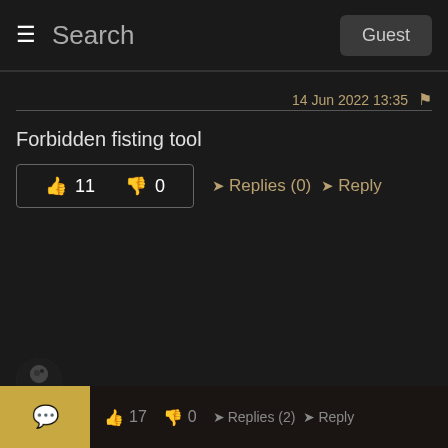Search  Guest
14 Jun 2022 13:35
Forbidden fisting tool
👍 11  👎 0  →Replies (0)  →Reply
[Figure (photo): Anonymous user avatar]
Anonymous
03 Jun 2022 13:59
Which one is better, this or Spkied Caestus?
👍 17  👎 0  →Replies (2)  →Reply